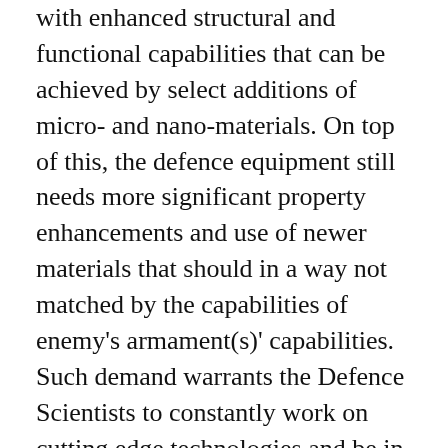with enhanced structural and functional capabilities that can be achieved by select additions of micro- and nano-materials. On top of this, the defence equipment still needs more significant property enhancements and use of newer materials that should in a way not matched by the capabilities of enemy's armament(s)' capabilities. Such demand warrants the Defence Scientists to constantly work on cutting edge technologies and be in the forefront world's R&D. Added to this, the DRDO also needs to contribute significantly in aiding the defence production so that the sub-systems and systems are in place for their ready use in Indian Defence Services.